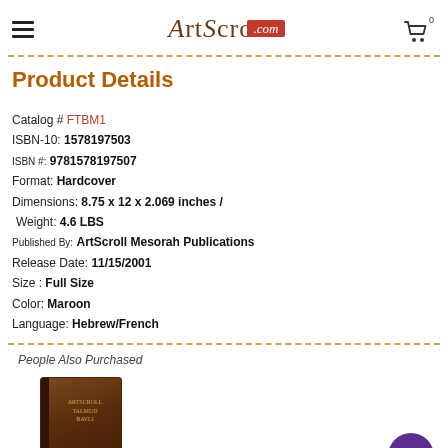ArtScroll.com
Product Details
Catalog # FTBM1
ISBN-10: 1578197503
ISBN #: 9781578197507
Format: Hardcover
Dimensions: 8.75 x 12 x 2.069 inches / Weight: 4.6 LBS
Published By: ArtScroll Mesorah Publications
Release Date: 11/15/2001
Size : Full Size
Color: Maroon
Language: Hebrew/French
People Also Purchased
[Figure (photo): Book product image - brown hardcover book]